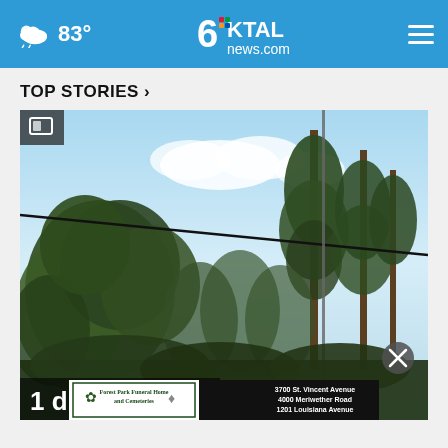83° KTAL news.com
TOP STORIES ›
[Figure (photo): Outdoor scene showing tall trees with a wire/cable crossing the frame against a partly cloudy blue sky, overlaid with a partially visible text '1 d...' and a funeral home advertisement banner at the bottom.]